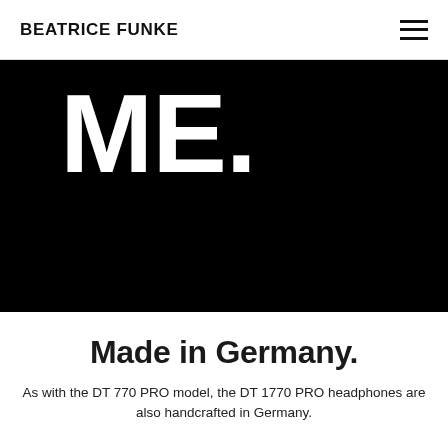BEATRICE FUNKE
ME.
Made in Germany.
As with the DT 770 PRO model, the DT 1770 PRO headphones are also handcrafted in Germany.